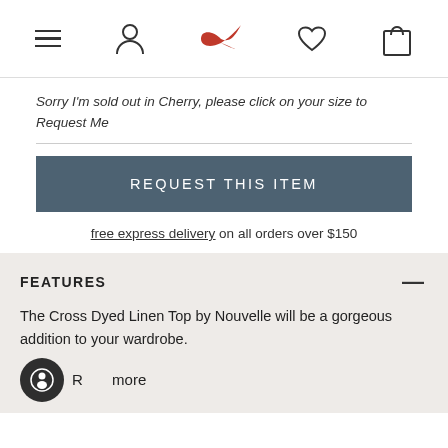Navigation header with hamburger menu, user icon, bird logo, heart icon, and bag icon
Sorry I'm sold out in Cherry, please click on your size to Request Me
REQUEST THIS ITEM
free express delivery on all orders over $150
FEATURES
The Cross Dyed Linen Top by Nouvelle will be a gorgeous addition to your wardrobe.
Read more